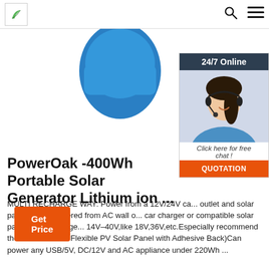Logo | Search | Menu
[Figure (photo): Blue portable solar generator product image, partially visible at top center]
[Figure (photo): 24/7 Online chat widget showing a female customer service agent wearing a headset, with dark header saying 24/7 Online, italic text Click here for free chat!, and an orange QUOTATION button]
PowerOak -400Wh Portable Solar Generator Lithium ion ...
MULTI RECHARGE WAY: Power from a 12V/24V car outlet and solar panel,Easily powered from AC wall outlet, car charger or compatible solar panel (Input Voltage: 14V–40V,like 18V,36V,etc.Especially recommend the PowerOak 72 Flexible PV Solar Panel with Adhesive Back)Can power any USB/5V, DC/12V and AC appliance under 220Wh ...
Get Price